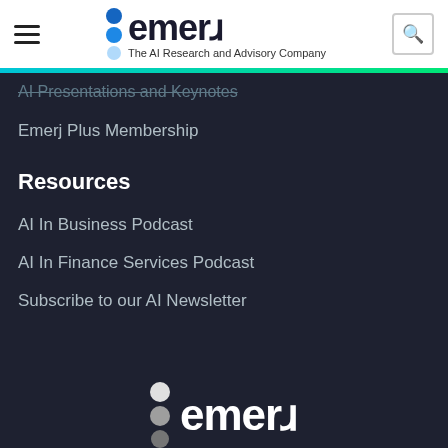emerJ – The AI Research and Advisory Company
AI Presentations and Keynotes
Emerj Plus Membership
Resources
AI In Business Podcast
AI In Finance Services Podcast
Subscribe to our AI Newsletter
[Figure (logo): Emerj logo with three dots (white/grey gradient) and text 'emerJ – The AI Research and Advisory Company' in white on dark background]